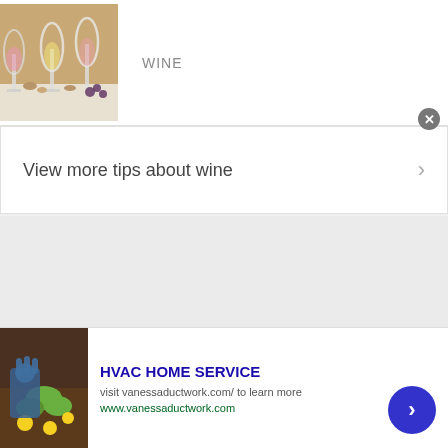[Figure (photo): Wine glasses and corks on a table]
WINE
View more tips about wine
[Figure (photo): Person gardening, pulling weeds with yellow flowers]
HVAC HOME SERVICE
visit vanessaductwork.com/ to learn more
www.vanessaductwork.com